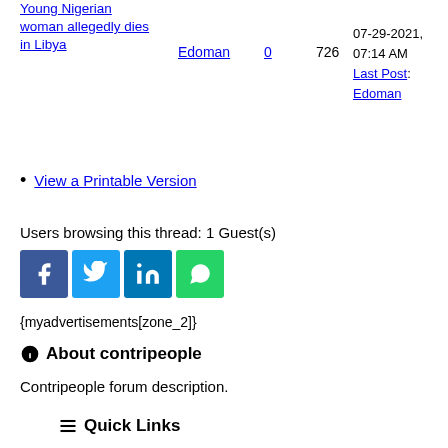Young Nigerian woman allegedly dies in Libya | Edoman | 0 | 726 | 07-29-2021, 07:14 AM Last Post: Edoman
View a Printable Version
Users browsing this thread: 1 Guest(s)
[Figure (infographic): Social media share buttons: Facebook, Twitter, LinkedIn, WhatsApp]
{myadvertisements[zone_2]}
About contripeople
Contripeople forum description.
Quick Links